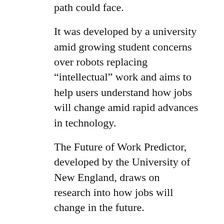path could face.
It was developed by a university amid growing student concerns over robots replacing “intellectual” work and aims to help users understand how jobs will change amid rapid advances in technology.
The Future of Work Predictor, developed by the University of New England, draws on research into how jobs will change in the future.
The tool breaks the Australian economy down into over 3,000 different jobs and then breaks those jobs into thousands of separate tasks.
University marketing director Anthony Smith said “intellectual” work will be impacted by technology.
“Intellectual work is now affected, for example lots of lawyers and a lot of accountants, these people realise artificial intelligence is going to penetrate chunks of their work,” Mr Smith said.